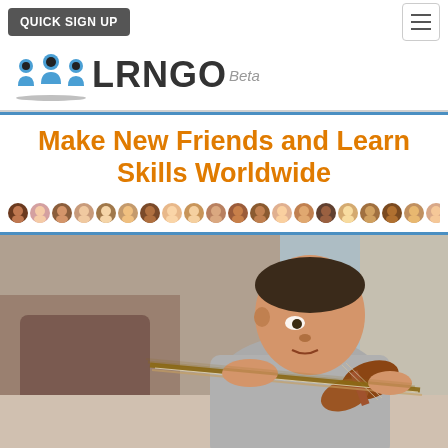QUICK SIGN UP
[Figure (logo): LRNGO Beta logo with three people icons in blue]
Make New Friends and Learn Skills Worldwide
[Figure (illustration): Row of user profile photo avatars showing diverse faces]
[Figure (photo): Young child playing violin with bow in motion]